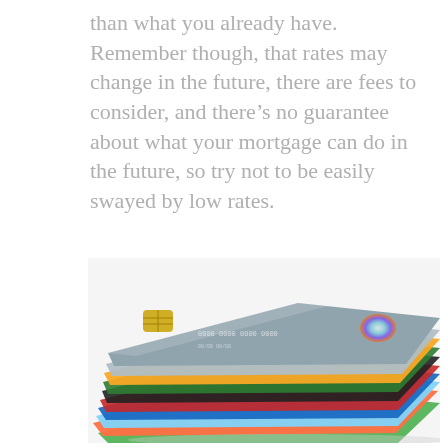than what you already have. Remember though, that rates may change in the future, there are fees to consider, and there's no guarantee about what your mortgage can do in the future, so try not to be easily swayed by low rates.
[Figure (photo): A stack of multiple credit cards in various colors including blue, red, green, orange, gray, and gold, photographed on a white background.]